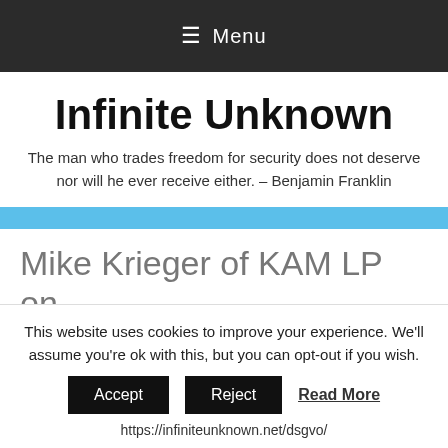≡ Menu
Infinite Unknown
The man who trades freedom for security does not deserve nor will he ever receive either. – Benjamin Franklin
Mike Krieger of KAM LP on
This website uses cookies to improve your experience. We'll assume you're ok with this, but you can opt-out if you wish.
Accept  Reject  Read More
https://infiniteunknown.net/dsgvo/